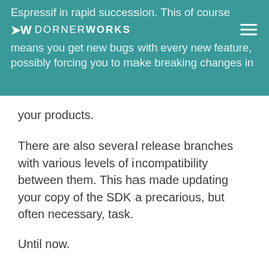Espressif in rapid succession. This of course means you get new bugs with every new feature, possibly forcing you to make breaking changes in your products.
There are also several release branches with various levels of incompatibility between them. This has made updating your copy of the SDK a precarious, but often necessary, task.
Until now.
In one week, the Espressif team released two important new milestones for the SDK:
1. The first long-term support (LTS) version of the SDK, `v3.3`